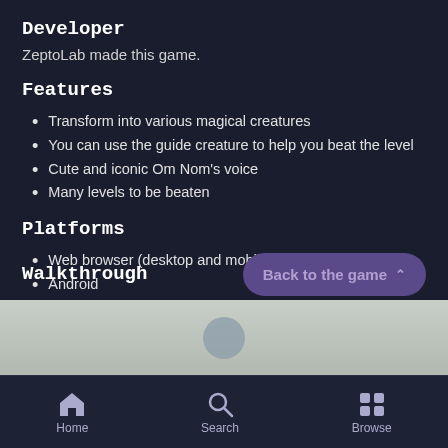Developer
ZeptoLab made this game.
Features
Transform into various magical creatures
You can use the guide creature to help you beat the level
Cute and iconic Om Nom's voice
Many levels to be beaten
Platforms
Web browser (desktop and mobile)
Android
iOS
Walkthrough
Home  Search  Browse